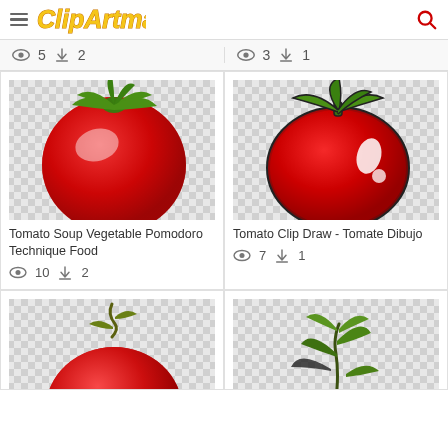ClipArtMax
👁 5  ⬇ 2   👁 3  ⬇ 1
[Figure (illustration): Red tomato clipart with green stem and leaves, realistic style, on checkered transparent background. Title: Tomato Soup Vegetable Pomodoro Technique Food. Views: 10, Downloads: 2]
[Figure (illustration): Red tomato clipart cartoon style with thick black outline, green stem, white highlights, on checkered transparent background. Title: Tomato Clip Draw - Tomate Dibujo. Views: 7, Downloads: 1]
[Figure (illustration): Realistic red tomato with vine stem on checkered background, partially visible (cropped bottom). Views/downloads not visible.]
[Figure (illustration): Green tomato plant seedling illustration with black and green leaves on checkered background, partially visible (cropped bottom). Views/downloads not visible.]